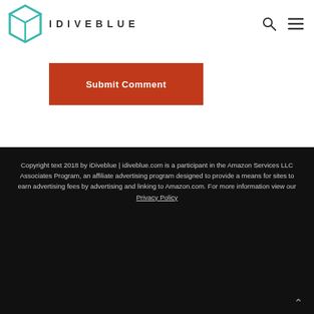[Figure (logo): iDiveBlue logo with teal geometric diamond/cube icon and IDIVEBLUE text]
Submit Comment
Copyright text 2018 by iDiveblue | idiveblue.com is a participant in the Amazon Services LLC Associates Program, an affiliate advertising program designed to provide a means for sites to earn advertising fees by advertising and linking to Amazon.com. For more information view our Privacy Policy